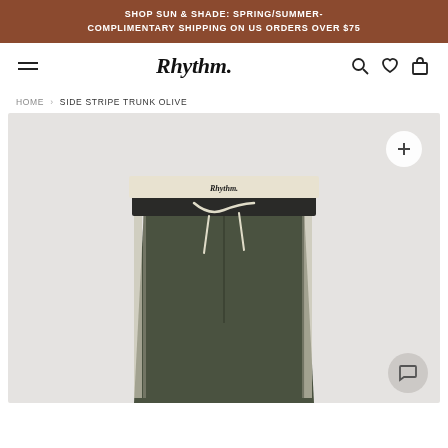SHOP SUN & SHADE: SPRING/SUMMER- COMPLIMENTARY SHIPPING ON US ORDERS OVER $75
[Figure (logo): Rhythm brand logo with hamburger menu, search, wishlist, and cart icons]
HOME › SIDE STRIPE TRUNK OLIVE
[Figure (photo): Olive green board shorts/swim trunks with cream and black waistband showing Rhythm logo, white drawstring, and side stripe detail, displayed flat on a light gray background]